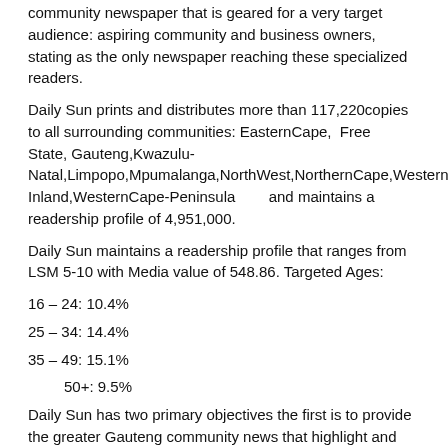community newspaper that is geared for a very target audience: aspiring community and business owners, stating as the only newspaper reaching these specialized readers.
Daily Sun prints and distributes more than 117,220copies to all surrounding communities: EasternCape, Free State, Gauteng,Kwazulu-Natal,Limpopo,Mpumalanga,NorthWest,NorthernCape,WesternCape,W Inland,WesternCape-Peninsula and maintains a readership profile of 4,951,000.
Daily Sun maintains a readership profile that ranges from LSM 5-10 with Media value of 548.86. Targeted Ages:
16 – 24: 10.4%
25 – 34: 14.4%
35 – 49: 15.1%
50+: 9.5%
Daily Sun has two primary objectives the first is to provide the greater Gauteng community news that highlight and profile community issues. While the second objective is to empower its community by offering SMME's business owners an opportunity to market themselves in order to grow, by providing a quality